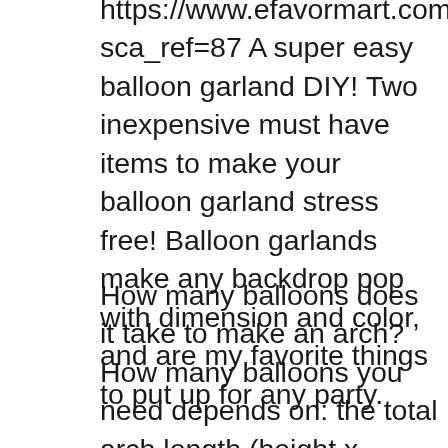https://www.efavormart.com?sca_ref=87 A super easy balloon garland DIY! Two inexpensive must have items to make your balloon garland stress free! Balloon garlands make any backdrop pop with dimension and color, and are my favorite things to put up for any party.
How many balloons does it take to make an arch? How many balloons you need depends on: the total arch length (height x width) the balloon size and; the type of arch: single line, clustered or organic. To calculate the number of balloons, check out my page with detailed instructions or get the free balloon arch sheet when you subscribe